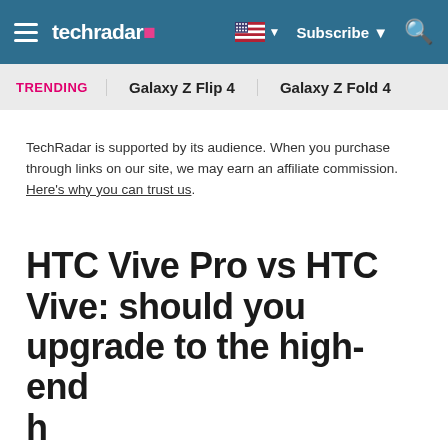techradar | Subscribe | Search
TRENDING   Galaxy Z Flip 4   Galaxy Z Fold 4
TechRadar is supported by its audience. When you purchase through links on our site, we may earn an affiliate commission. Here's why you can trust us.
HTC Vive Pro vs HTC Vive: should you upgrade to the high-end headset?